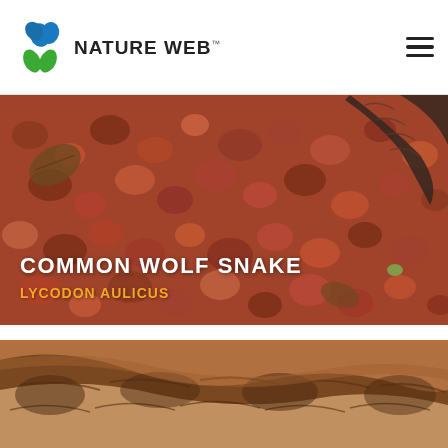NATURE WEB
[Figure (photo): Close-up aerial view of red/brown gravel and pebbles with a snake visible at the top right corner of the image, along with dead leaves scattered on the ground. Text overlay reads 'COMMON WOLF SNAKE' in white and 'LYCODON AULICUS' in orange/yellow.]
COMMON WOLF SNAKE
LYCODON AULICUS
[Figure (photo): Close-up photograph of the body/scales of a Common Wolf Snake (Lycodon aulicus) showing brown and tan patterned scales against a warm brown background.]